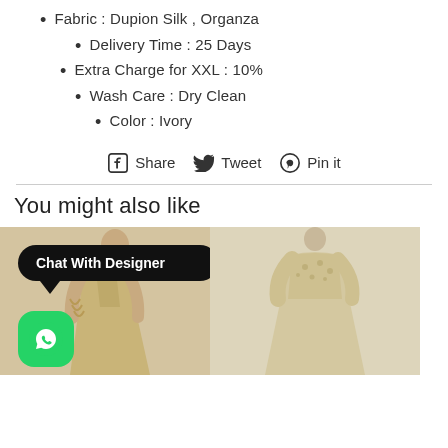Fabric : Dupion Silk , Organza
Delivery Time : 25 Days
Extra Charge for XXL : 10%
Wash Care : Dry Clean
Color : Ivory
Share  Tweet  Pin it
You might also like
[Figure (photo): Two product images of ivory/champagne gowns shown side by side, with a 'Chat With Designer' bubble overlay and WhatsApp button on the left image]